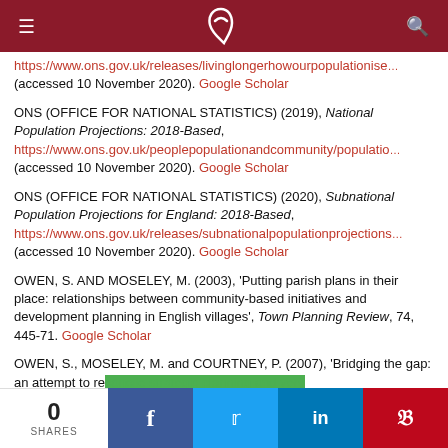Navigation bar with menu, logo, and search icons
https://www.ons.gov.uk/releases/livinglongerhowourpopulationise... (accessed 10 November 2020). Google Scholar
ONS (OFFICE FOR NATIONAL STATISTICS) (2019), National Population Projections: 2018-Based, https://www.ons.gov.uk/peoplepopulationandcommunity/populatio... (accessed 10 November 2020). Google Scholar
ONS (OFFICE FOR NATIONAL STATISTICS) (2020), Subnational Population Projections for England: 2018-Based, https://www.ons.gov.uk/releases/subnationalpopulationprojections... (accessed 10 November 2020). Google Scholar
OWEN, S. AND MOSELEY, M. (2003), 'Putting parish plans in their place: relationships between community-based initiatives and development planning in English villages', Town Planning Review, 74, 445-71. Google Scholar
OWEN, S., MOSELEY, M. and COURTNEY, P. (2007), 'Bridging the gap: an attempt to reconcile strategic planning and very...
0 SHARES | Facebook | Twitter | LinkedIn | Pinterest